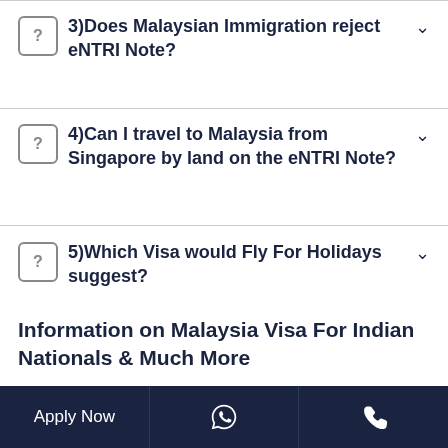3) Does Malaysian Immigration reject eNTRI Note?
4) Can I travel to Malaysia from Singapore by land on the eNTRI Note?
5) Which Visa would Fly For Holidays suggest?
Information on Malaysia Visa For Indian Nationals & Much More
Ultimate Guide For Malaysia Visa For
Apply Now | WhatsApp | Phone